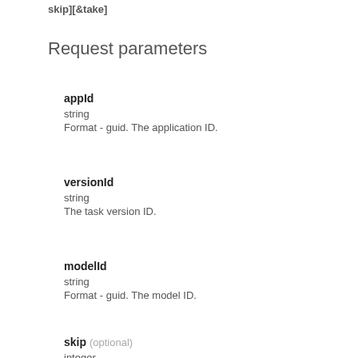skip][&take]
Request parameters
appId
string
Format - guid. The application ID.
versionId
string
The task version ID.
modelId
string
Format - guid. The model ID.
skip (optional)
integer